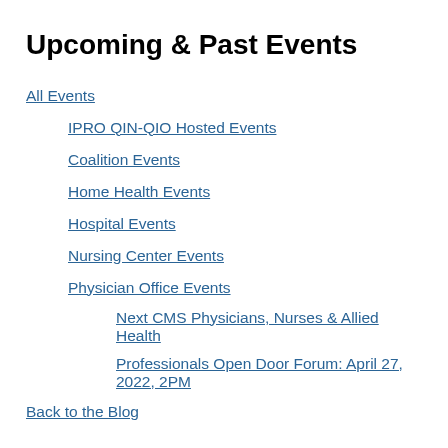Upcoming & Past Events
All Events
IPRO QIN-QIO Hosted Events
Coalition Events
Home Health Events
Hospital Events
Nursing Center Events
Physician Office Events
Next CMS Physicians, Nurses & Allied Health
Professionals Open Door Forum: April 27, 2022, 2PM
Back to the Blog